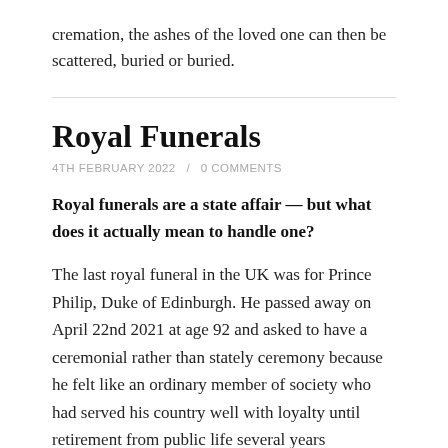cremation, the ashes of the loved one can then be scattered, buried or buried.
Royal Funerals
4TH FEBRUARY 2022 / 0 COMMENTS
Royal funerals are a state affair — but what does it actually mean to handle one?
The last royal funeral in the UK was for Prince Philip, Duke of Edinburgh. He passed away on April 22nd 2021 at age 92 and asked to have a ceremonial rather than stately ceremony because he felt like an ordinary member of society who had served his country well with loyalty until retirement from public life several years